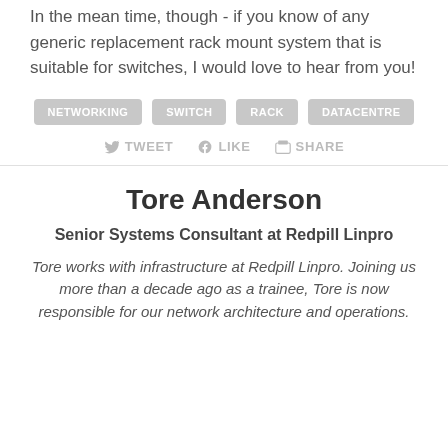In the mean time, though - if you know of any generic replacement rack mount system that is suitable for switches, I would love to hear from you!
NETWORKING
SWITCH
RACK
DATACENTRE
TWEET LIKE SHARE
Tore Anderson
Senior Systems Consultant at Redpill Linpro
Tore works with infrastructure at Redpill Linpro. Joining us more than a decade ago as a trainee, Tore is now responsible for our network architecture and operations.